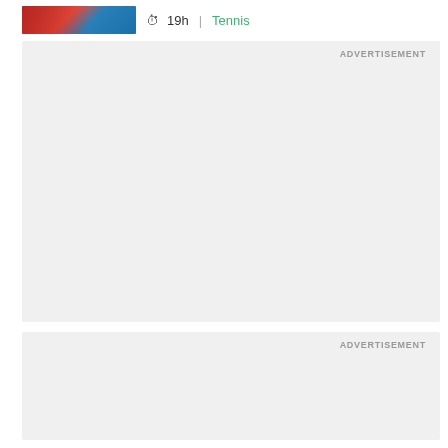[Figure (photo): Thumbnail image of a tennis player in colorful outfit against blue background]
19h
Tennis
ADVERTISEMENT
ADVERTISEMENT